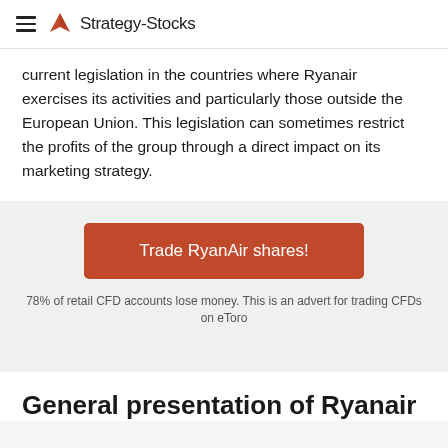Strategy-Stocks
current legislation in the countries where Ryanair exercises its activities and particularly those outside the European Union. This legislation can sometimes restrict the profits of the group through a direct impact on its marketing strategy.
Trade RyanAir shares!
78% of retail CFD accounts lose money. This is an advert for trading CFDs on eToro
General presentation of Ryanair